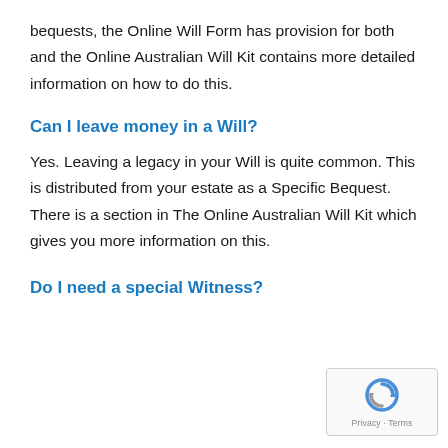bequests, the Online Will Form has provision for both and the Online Australian Will Kit contains more detailed information on how to do this.
Can I leave money in a Will?
Yes. Leaving a legacy in your Will is quite common. This is distributed from your estate as a Specific Bequest. There is a section in The Online Australian Will Kit which gives you more information on this.
Do I need a special Witness?
[Figure (logo): reCAPTCHA badge with privacy and terms text]